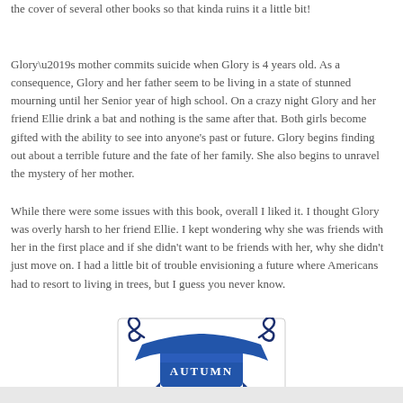the cover of several other books so that kinda ruins it a little bit!
Glory’s mother commits suicide when Glory is 4 years old.  As a consequence, Glory and her father seem to be living in a state of stunned mourning until her Senior year of high school.  On a crazy night Glory and her friend Ellie drink a bat and nothing is the same after that.  Both girls become gifted with the ability to see into anyone's past or future.  Glory begins finding out about a terrible future and the fate of her family.  She also begins to unravel the mystery of her mother.
While there were some issues with this book, overall I liked it.  I thought Glory was overly harsh to her friend Ellie.  I kept wondering why she was friends with her in the first place and if she didn't want to be friends with her, why she didn't just move on.  I had a little bit of trouble envisioning a future where Americans had to resort to living in trees, but I guess you never know.
[Figure (illustration): A decorative blue ribbon banner with scrollwork curls at the top corners and the word AUTUMN written in the center of the banner.]